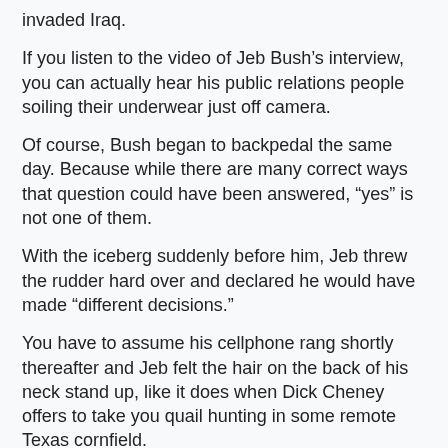invaded Iraq.
If you listen to the video of Jeb Bush’s interview, you can actually hear his public relations people soiling their underwear just off camera.
Of course, Bush began to backpedal the same day. Because while there are many correct ways that question could have been answered, “yes” is not one of them.
With the iceberg suddenly before him, Jeb threw the rudder hard over and declared he would have made “different decisions.”
You have to assume his cellphone rang shortly thereafter and Jeb felt the hair on the back of his neck stand up, like it does when Dick Cheney offers to take you quail hunting in some remote Texas cornfield.
So Jeb then tacked hard to port and blamed the US Intelligence community (i.e. people like me) for steering his big brother wrong.
And if a polite group of observers were to actually observe Jeb speaking, it...